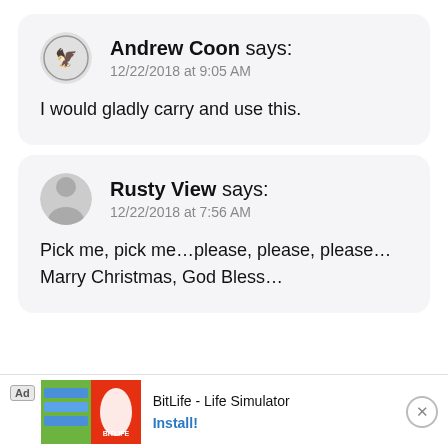Andrew Coon says:
12/22/2018 at 9:05 AM

I would gladly carry and use this.
Rusty View says:
12/22/2018 at 7:56 AM

Pick me, pick me…please, please, please…Marry Christmas, God Bless…
[Figure (other): Advertisement banner for BitLife - Life Simulator app with Install button]